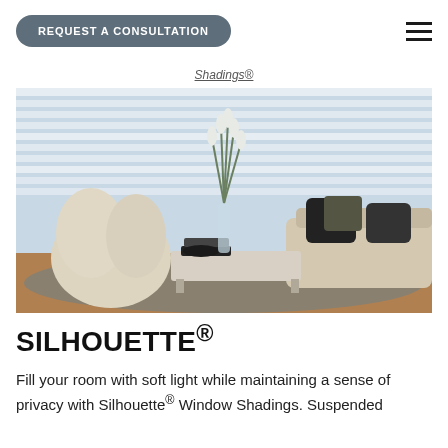REQUEST A CONSULTATION
Shadings®
[Figure (photo): Modern living room with horizontal window shadings/blinds behind a sofa with dark pillows, a white lounge chair, a low coffee table with books and a vase of white flowers, on a shaggy grey rug with hardwood floors visible.]
SILHOUETTE®
Fill your room with soft light while maintaining a sense of privacy with Silhouette® Window Shadings. Suspended